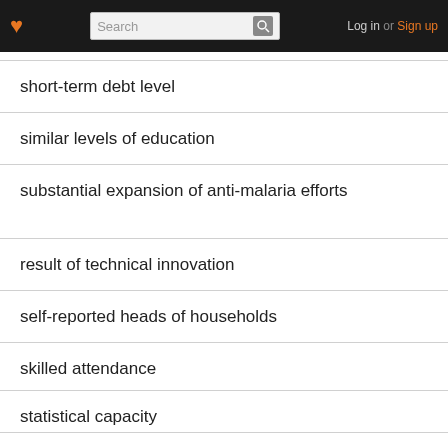Search | Log in or Sign up
short-term debt level
similar levels of education
substantial expansion of anti-malaria efforts
result of technical innovation
self-reported heads of households
skilled attendance
statistical capacity
strengthened political commitment